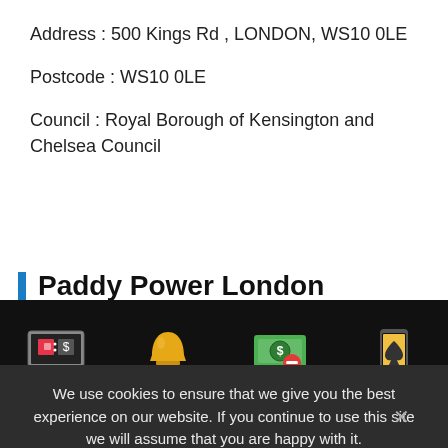Address : 500 Kings Rd , LONDON, WS10 0LE
Postcode : WS10 0LE
Council : Royal Borough of Kensington and Chelsea Council
Paddy Power London License Information
We use cookies to ensure that we give you the best experience on our website. If you continue to use this site we will assume that you are happy with it.
Ok
[Figure (illustration): Four footer icons: Best Betting Sites (betting terminal icon), New Betting Sites (bell icon), Free Betting Sites (money with minus icon), Mobile Betting Sites (mobile phone with spade icon)]